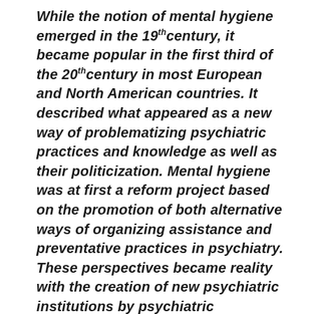While the notion of mental hygiene emerged in the 19th century, it became popular in the first third of the 20th century in most European and North American countries. It described what appeared as a new way of problematizing psychiatric practices and knowledge as well as their politicization. Mental hygiene was at first a reform project based on the promotion of both alternative ways of organizing assistance and preventative practices in psychiatry. These perspectives became reality with the creation of new psychiatric institutions by psychiatric reformers. In 1908 the psychiatrist Gustav Kolb created an “open” outpatient service for mad